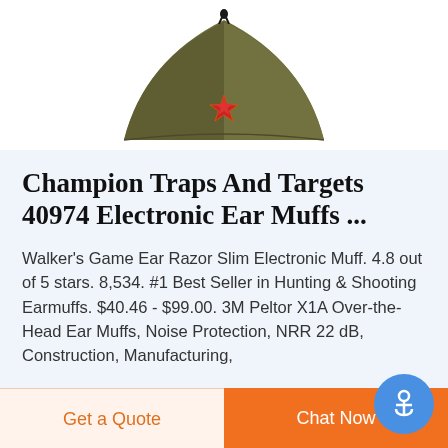[Figure (photo): Olive green military-style garrison cap with a red star badge and black cord, viewed from front, on white background]
Champion Traps And Targets 40974 Electronic Ear Muffs ...
Walker's Game Ear Razor Slim Electronic Muff. 4.8 out of 5 stars. 8,534. #1 Best Seller in Hunting & Shooting Earmuffs. $40.46 - $99.00. 3M Peltor X1A Over-the-Head Ear Muffs, Noise Protection, NRR 22 dB, Construction, Manufacturing,